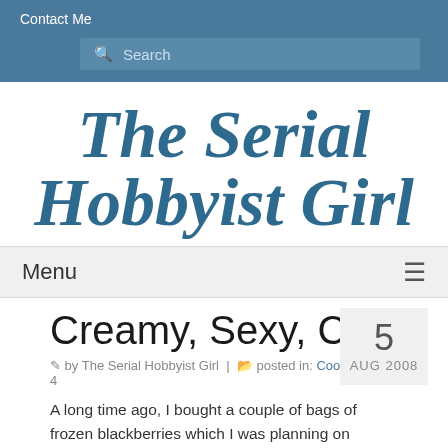Contact Me
Search
The Serial Hobbyist Girl
Menu
Creamy, Sexy, Cool
5 AUG 2008
by The Serial Hobbyist Girl | posted in: Cooking | 4
A long time ago, I bought a couple of bags of frozen blackberries which I was planning on making cake filling with. I never got around to it and they've just been sitting in the freezer, taking up space. We had a box of Omaha Steaks meat coming and needed